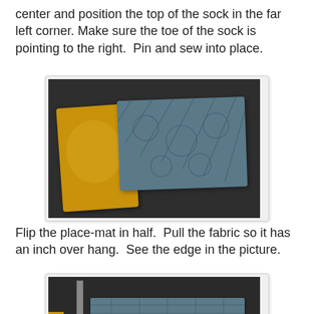center and position the top of the sock in the far left corner. Make sure the toe of the sock is pointing to the right.  Pin and sew into place.
[Figure (photo): Photo showing a yellow/gold fabric piece laid on top of a blue/grey quilted placemat on a dark surface.]
Flip the place-mat in half.  Pull the fabric so it has an inch over hang.  See the edge in the picture.
[Figure (photo): Photo showing a folded blue quilted placemat on a dark surface with a ruler or straight edge visible.]